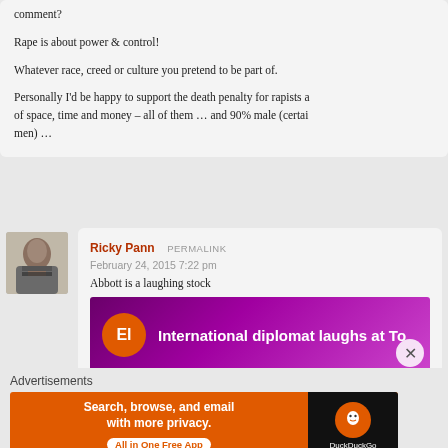comment?

Rape is about power & control!

Whatever race, creed or culture you pretend to be part of.

Personally I'd be happy to support the death penalty for rapists a of space, time and money – all of them … and 90% male (certai men) …
Ricky Pann  PERMALINK
February 24, 2015 7:22 pm
Abbott is a laughing stock
[Figure (screenshot): Embedded article thumbnail: orange circle with 'El' text, dark purple background, text reads 'International diplomat laughs at To']
Advertisements
[Figure (screenshot): DuckDuckGo advertisement banner: orange background with text 'Search, browse, and email with more privacy. All in One Free App' and DuckDuckGo logo on black background]